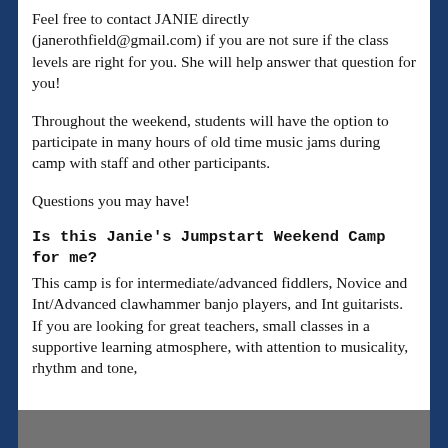Feel free to contact JANIE directly (janerothfield@gmail.com) if you are not sure if the class levels are right for you. She will help answer that question for you!
Throughout the weekend, students will have the option to participate in many hours of old time music jams during camp with staff and other participants.
Questions you may have!
Is this Janie's Jumpstart Weekend Camp for me?
This camp is for intermediate/advanced fiddlers, Novice and Int/Advanced clawhammer banjo players, and Int guitarists. If you are looking for great teachers, small classes in a supportive learning atmosphere, with attention to musicality, rhythm and tone, tons of jamming... and how to play